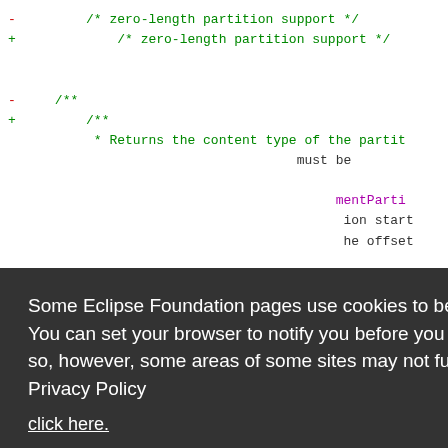[Figure (screenshot): Code diff view showing lines with minus (red) and plus (green) markers for zero-length partition support comments and JSDoc comment blocks, with partial function signatures visible in blue/green.]
Some Eclipse Foundation pages use cookies to better serve you when you return to the site. You can set your browser to notify you before you receive a cookie or turn off cookies. If you do so, however, some areas of some sites may not function properly. To read Eclipse Foundation Privacy Policy click here.